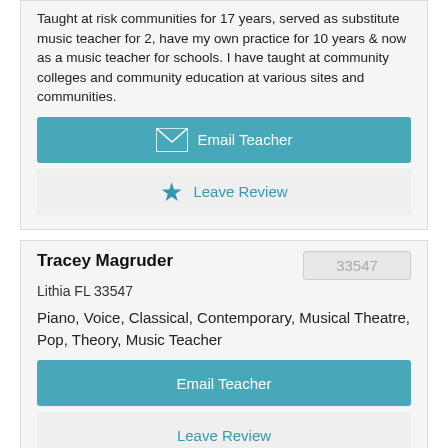Taught at risk communities for 17 years, served as substitute music teacher for 2, have my own practice for 10 years & now as a music teacher for schools. I have taught at community colleges and community education at various sites and communities.
Email Teacher
Leave Review
Tracey Magruder
33547
Lithia FL 33547
Piano, Voice, Classical, Contemporary, Musical Theatre, Pop, Theory, Music Teacher
Email Teacher
Leave Review
Katarzyna Cieslik
33143
Miami FL 33143